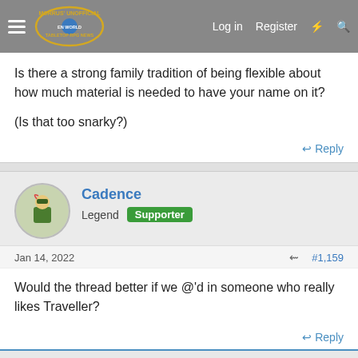Morrus' Unofficial Tabletop RPG News — Log in  Register
Is there a strong family tradition of being flexible about how much material is needed to have your name on it?

(Is that too snarky?)
Reply
Cadence
Legend  Supporter
Jan 14, 2022  #1,159
Would the thread better if we @'d in someone who really likes Traveller?
Reply